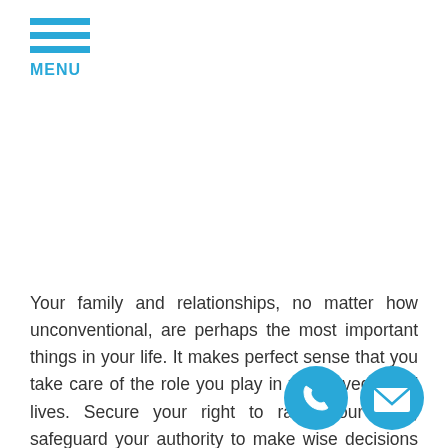[Figure (other): Hamburger menu icon with three horizontal blue bars and MENU label below]
Your family and relationships, no matter how unconventional, are perhaps the most important things in your life. It makes perfect sense that you take care of the role you play in your loved ones' lives. Secure your right to raise your child, safeguard your authority to make wise decisions for your child's future, and ensure that your child's best interests are protected and preserved. Our role at Voelker Kairys & Morris is to help you do all that. Legal matters such as child support, child custody and divorce are messy, but we've been doing what we do long enough
[Figure (other): Phone call icon - blue circle with white phone handset]
[Figure (other): Email icon - blue circle with white envelope]